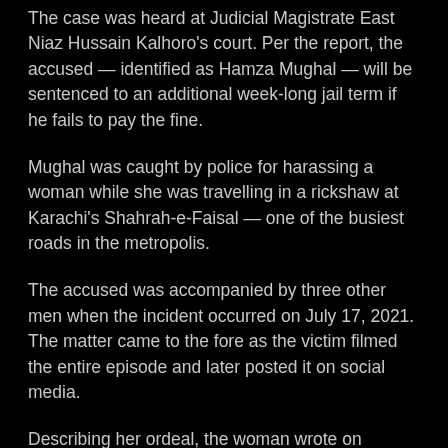The case was heard at Judicial Magistrate East Niaz Hussain Kalhoro's court. Per the report, the accused — identified as Hamza Mughal — will be sentenced to an additional week-long jail term if he fails to pay the fine.
Mughal was caught by police for harassing a woman while she was travelling in a rickshaw at Karachi's Shahrah-e-Faisal — one of the busiest roads in the metropolis.
The accused was accompanied by three other men when the incident occurred on July 17, 2021. The matter came to the fore as the victim filmed the entire episode and later posted it on social media.
Describing her ordeal, the woman wrote on Facebook that the accused grabbed her hand, shouted at her, and started hurling abusive words when he realised she was filming him.